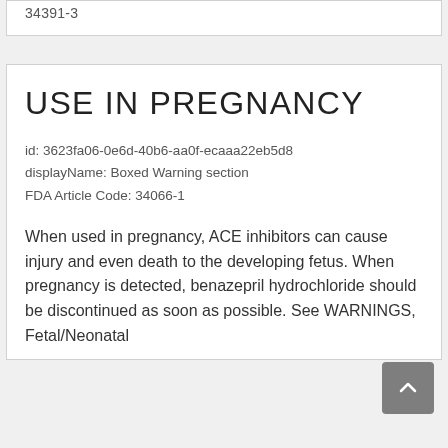34391-3
USE IN PREGNANCY
id: 3623fa06-0e6d-40b6-aa0f-ecaaa22eb5d8
displayName: Boxed Warning section
FDA Article Code: 34066-1
When used in pregnancy, ACE inhibitors can cause injury and even death to the developing fetus. When pregnancy is detected, benazepril hydrochloride should be discontinued as soon as possible. See WARNINGS, Fetal/Neonatal